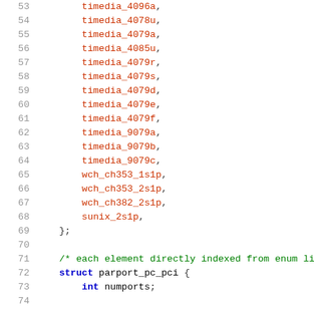53    timedia_4096a,
54    timedia_4078u,
55    timedia_4079a,
56    timedia_4085u,
57    timedia_4079r,
58    timedia_4079s,
59    timedia_4079d,
60    timedia_4079e,
61    timedia_4079f,
62    timedia_9079a,
63    timedia_9079b,
64    timedia_9079c,
65    wch_ch353_1s1p,
66    wch_ch353_2s1p,
67    wch_ch382_2s1p,
68    sunix_2s1p,
69 };
70
71 /* each element directly indexed from enum list
72 struct parport_pc_pci {
73     int numports;
74 ...